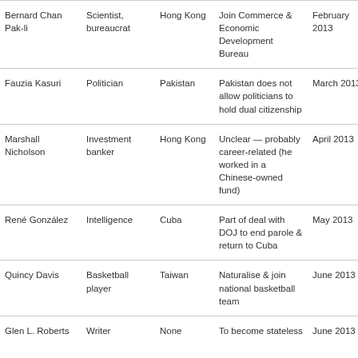| Name | Occupation | Country | Reason | Date | Q |  |
| --- | --- | --- | --- | --- | --- | --- |
| Bernard Chan Pak-li | Scientist, bureaucrat | Hong Kong | Join Commerce & Economic Development Bureau | February 2013 | Q2 2013 | H E T |
| Fauzia Kasuri | Politician | Pakistan | Pakistan does not allow politicians to hold dual citizenship | March 2013 | No | D |
| Marshall Nicholson | Investment banker | Hong Kong | Unclear — probably career-related (he worked in a Chinese-owned fund) | April 2013 | Q4 2013 | R |
| René González | Intelligence | Cuba | Part of deal with DOJ to end parole & return to Cuba | May 2013 | No | W P |
| Quincy Davis | Basketball player | Taiwan | Naturalise & join national basketball team | June 2013 | Q4 2013 | C |
| Glen L. Roberts | Writer | None | To become stateless | June 2013 | Q4 2014 | In B T |
| Camillo Gonsalves | Diplomat, politician | St. Vincent & Grenadines | Join Senate of SVG | September 2013 | No | I- N |